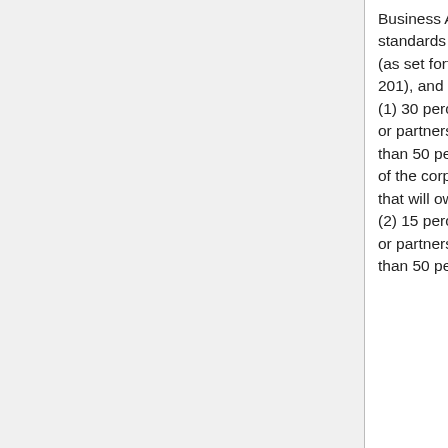Business Administration's size standards for its industry grouping (as set forth in 13 C.F.R. § 121-201), and holds (1) 30 percent or more of the stock or partnership interests and more than 50 percent of the voting power of the corporation or partnership that will own the media outlet; or (2) 15 percent or more of the stock or partnership interests and more than 50 percent of